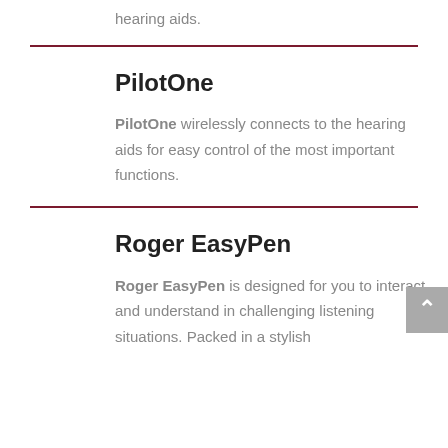hearing aids.
PilotOne
PilotOne wirelessly connects to the hearing aids for easy control of the most important functions.
Roger EasyPen
Roger EasyPen is designed for you to interact and understand in challenging listening situations. Packed in a stylish